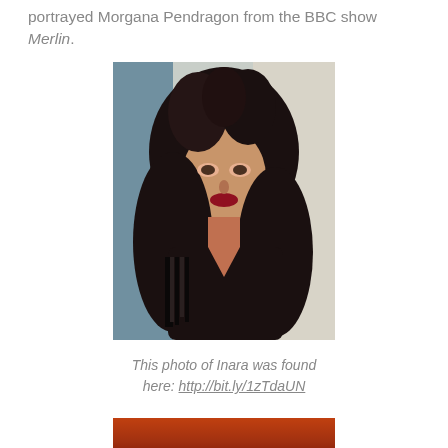portrayed Morgana Pendragon from the BBC show Merlin.
[Figure (photo): Portrait photo of a woman with long dark curly hair, wearing a black fringed outfit, posed against a light background. The photo relates to Inara.]
This photo of Inara was found here: http://bit.ly/1zTdaUN
[Figure (photo): Partial photo visible at the bottom of the page, showing warm red and orange tones.]